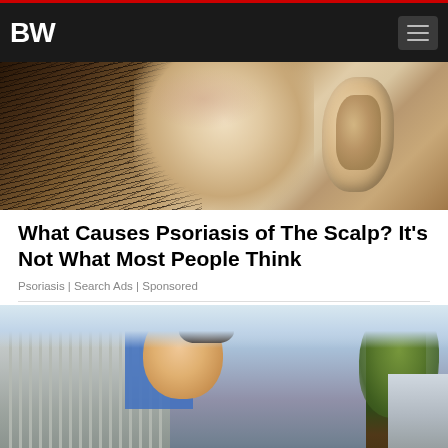BW
[Figure (photo): Close-up photo of a human scalp near the ear, showing hair follicles and skin, possibly with psoriasis symptoms]
What Causes Psoriasis of The Scalp? It’s Not What Most People Think
Psoriasis | Search Ads | Sponsored
[Figure (photo): Young woman with dark hair in a bun, wearing a blue-grey top, smiling outdoors near a tree and building]